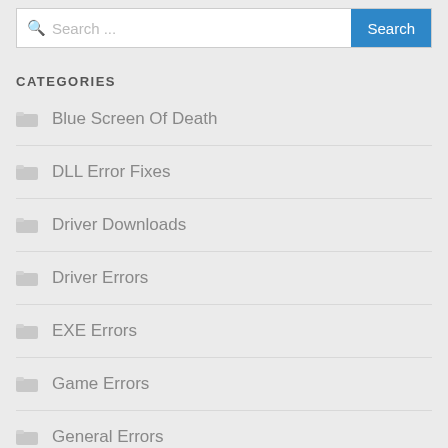Search ...
CATEGORIES
Blue Screen Of Death
DLL Error Fixes
Driver Downloads
Driver Errors
EXE Errors
Game Errors
General Errors
General Fixes